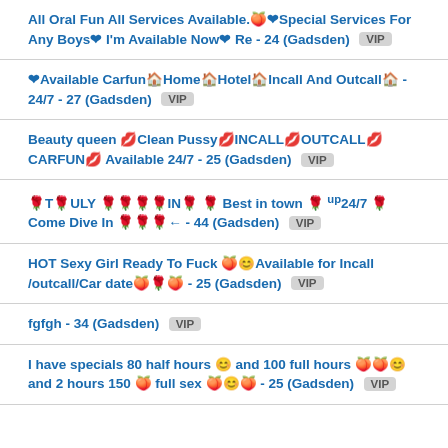All Oral Fun All Services Available.🍑❤Special Services For Any Boys❤ I'm Available Now❤ Re - 24 (Gadsden) VIP
❤Available Carfun🏠Home🏠Hotel🏠Incall And Outcall🏠 - 24/7 - 27 (Gadsden) VIP
Beauty queen 💋Clean Pussy💋INCALL💋OUTCALL💋CARFUN💋 Available 24/7 - 25 (Gadsden) VIP
🌹T🌹ULY 🌹🌹🌹🌹IN🌹 🌹 Best in town 🌹 up24/7 🌹 Come Dive In 🌹🌹🌹← - 44 (Gadsden) VIP
HOT Sexy Girl Ready To Fuck 🍑😊Available for Incall /outcall/Car date🍑🌹🍑 - 25 (Gadsden) VIP
fgfgh - 34 (Gadsden) VIP
I have specials 80 half hours 😊 and 100 full hours 🍑🍑😊 and 2 hours 150 🍑 full sex 🍑😊🍑 - 25 (Gadsden) VIP